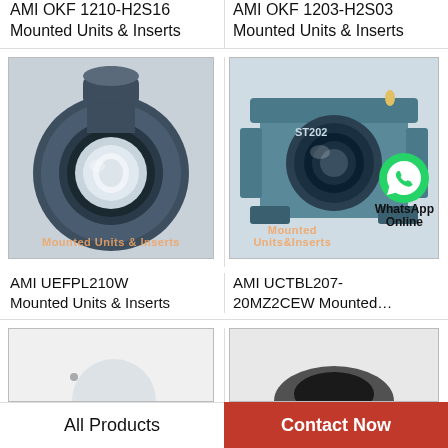AMI OKF 1210-H2S16 Mounted Units & Inserts
AMI OKF 1203-H2S03 Mounted Units & Inserts
[Figure (photo): Blue AMI UEFPL210W flanged bearing unit, circular shape with mounting flange on top, white inner ring visible]
[Figure (photo): Blue AMI UCTBL207-20MZ2CEW take-up bearing unit with rectangular housing, inner bearing ring visible, WhatsApp Online overlay]
AMI UEFPL210W Mounted Units & Inserts
AMI UCTBL207-20MZ2CEW Mounted...
[Figure (photo): Partial view of a bearing unit, mostly white/light background]
[Figure (photo): Partial view of a dark/black bearing unit]
All Products
Contact Now